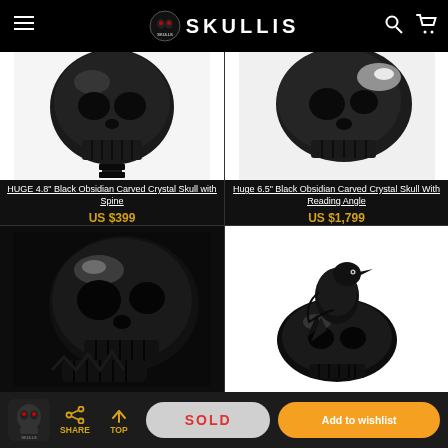SKULLIS
[Figure (photo): Black obsidian carved crystal skull with spine, front view, on white background]
HUGE 4.8" Black Obsidian Carved Crystal Skull with Spine
US $399
[Figure (photo): Huge 6.5" black obsidian carved crystal skull with reading angle, side view on white background]
Huge 6.5" Black Obsidian Carved Crystal Skull With Reading Angle
US $1,799
[Figure (photo): Black obsidian crystal skull with detached jaw, angled view on black background]
[Figure (photo): Black obsidian crystal skull with raven perched on top, on white background]
SHARE | TOP | SOLD | Add to wishlist